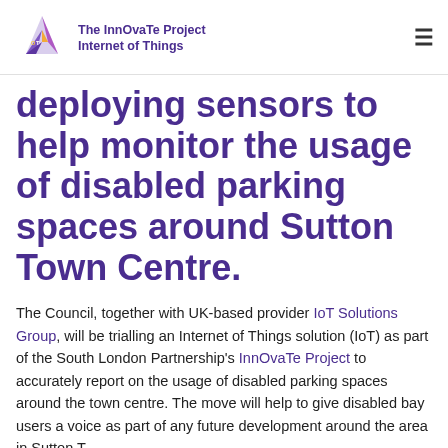The InnOvaTe Project Internet of Things
deploying sensors to help monitor the usage of disabled parking spaces around Sutton Town Centre.
The Council, together with UK-based provider IoT Solutions Group, will be trialling an Internet of Things solution (IoT) as part of the South London Partnership's InnOvaTe Project to accurately report on the usage of disabled parking spaces around the town centre. The move will help to give disabled bay users a voice as part of any future development around the area in Sutton T...